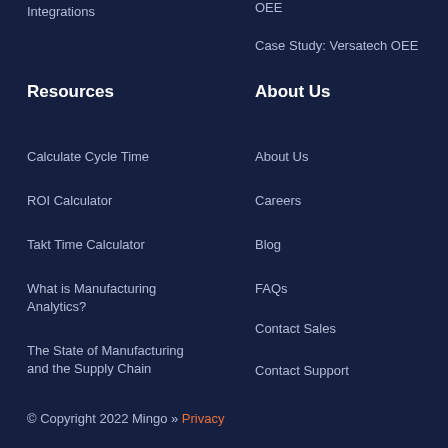Integrations
OEE
Case Study: Versatech OEE
Resources
About Us
Calculate Cycle Time
About Us
ROI Calculator
Careers
Takt Time Calculator
Blog
What is Manufacturing Analytics?
FAQs
The State of Manufacturing and the Supply Chain
Contact Sales
Contact Support
© Copyright 2022 Mingo » Privacy